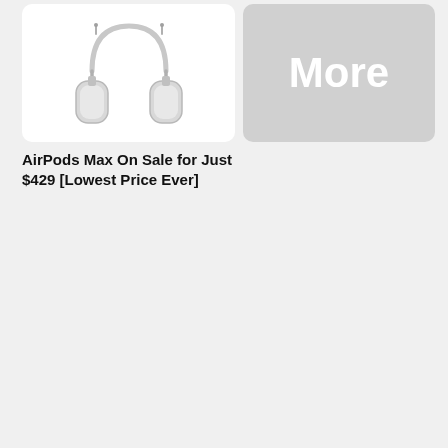[Figure (photo): AirPods Max silver over-ear headphones on white card background]
[Figure (other): Gray rounded rectangle button with white bold text reading 'More']
AirPods Max On Sale for Just $429 [Lowest Price Ever]